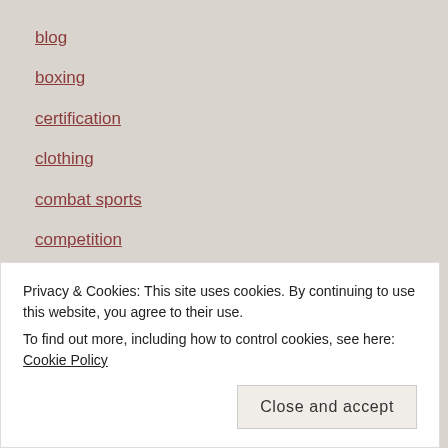blog
boxing
certification
clothing
combat sports
competition
diet
education
energy
exercise
Privacy & Cookies: This site uses cookies. By continuing to use this website, you agree to their use.
To find out more, including how to control cookies, see here: Cookie Policy
fitness